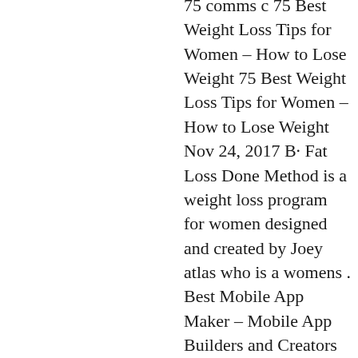75 comms c 75 Best Weight Loss Tips for Women – How to Lose Weight 75 Best Weight Loss Tips for Women – How to Lose Weight Nov 24, 2017 B· Fat Loss Done Method is a weight loss program for women designed and created by Joey atlas who is a womens . Best Mobile App Maker – Mobile App Builders and Creators with Zero Coding – how to make mobile application for android review The 5 Steps for Manifesting